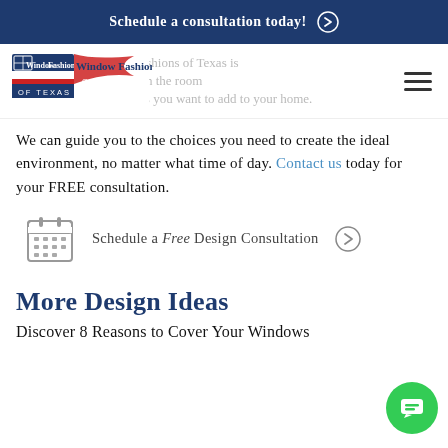Schedule a consultation today! →
[Figure (logo): Window Fashions of Texas logo with Texas flag motif]
Our nature at Window Fashions of Texas is here to help you with the room marketing details you want to add to your home. We can guide you to the choices you need to create the ideal environment, no matter what time of day. Contact us today for your FREE consultation.
Schedule a Free Design Consultation →
More Design Ideas
Discover 8 Reasons to Cover Your Windows